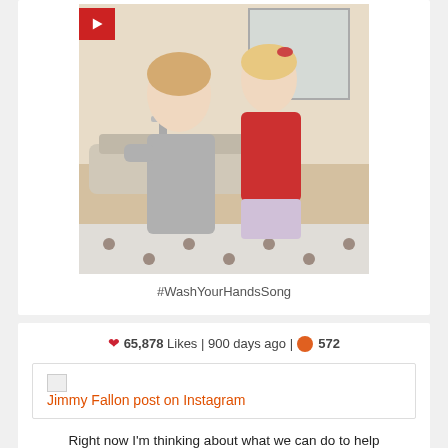[Figure (photo): Two young girls washing hands at a bathroom sink. One wearing grey, one wearing red.]
#WashYourHandsSong
65,878 Likes | 900 days ago | 572
[Figure (screenshot): Jimmy Fallon post on Instagram embed link]
Right now I'm thinking about what we can do to help our most vulnerable populations – children who are